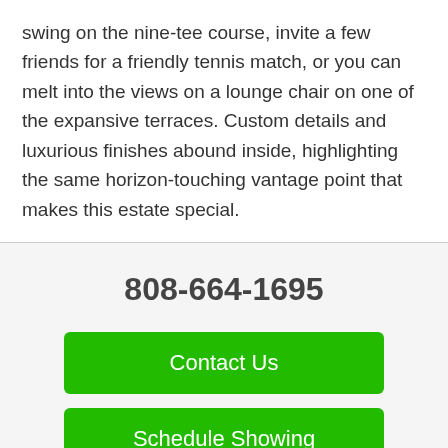swing on the nine-tee course, invite a few friends for a friendly tennis match, or you can melt into the views on a lounge chair on one of the expansive terraces. Custom details and luxurious finishes abound inside, highlighting the same horizon-touching vantage point that makes this estate special.
808-664-1695
Contact Us
Schedule Showing